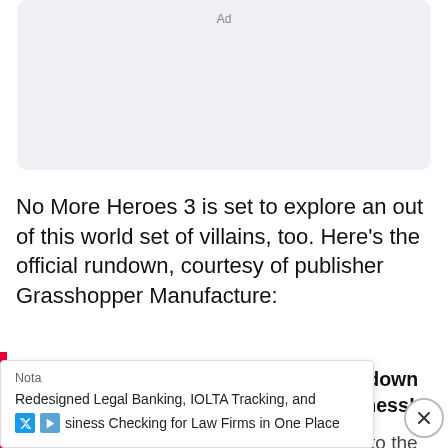[Figure (other): Advertisement placeholder box with 'Ad' label]
No More Heroes 3 is set to explore an out of this world set of villains, too. Here's the official rundown, courtesy of publisher Grasshopper Manufacture:
The legendary assassin Travis Touchdown makes his glorious return to the Madness!
Our hero, Travis Touchdown, must make it to the top of the Galactic Superhero Rankings in order to stop the villains from
[Figure (other): Share/social button (dark circle with share icon)]
Nota
Redesigned Legal Banking, IOLTA Tracking, and Business Checking for Law Firms in One Place